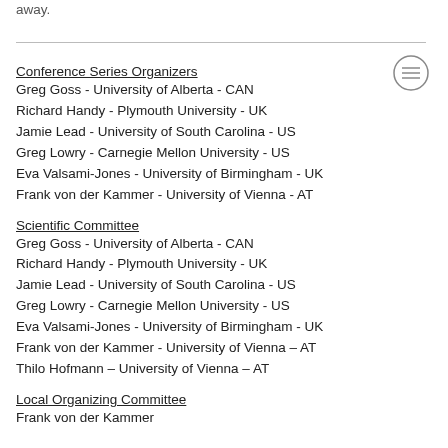away.
Conference Series Organizers
Greg Goss - University of Alberta - CAN
Richard Handy - Plymouth University - UK
Jamie Lead - University of South Carolina - US
Greg Lowry - Carnegie Mellon University - US
Eva Valsami-Jones - University of Birmingham - UK
Frank von der Kammer - University of Vienna - AT
Scientific Committee
Greg Goss - University of Alberta - CAN
Richard Handy - Plymouth University - UK
Jamie Lead - University of South Carolina - US
Greg Lowry - Carnegie Mellon University - US
Eva Valsami-Jones - University of Birmingham - UK
Frank von der Kammer - University of Vienna – AT
Thilo Hofmann – University of Vienna – AT
Local Organizing Committee
Frank von der Kammer